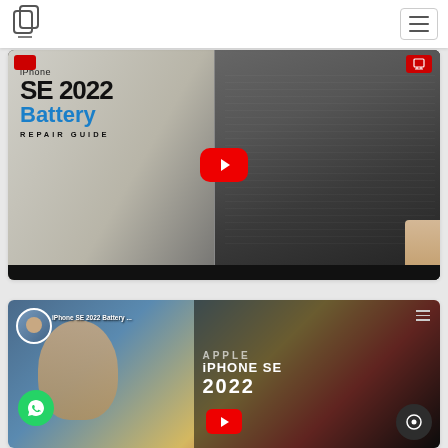[Figure (screenshot): Website navigation bar with logo icon on left and hamburger menu on right]
[Figure (screenshot): YouTube thumbnail for iPhone SE 2022 Battery Repair Guide video showing battery component and title text]
[Figure (screenshot): YouTube video embed card for iPhone SE 2022 Battery video with channel persona, WhatsApp button, and chat button overlay]